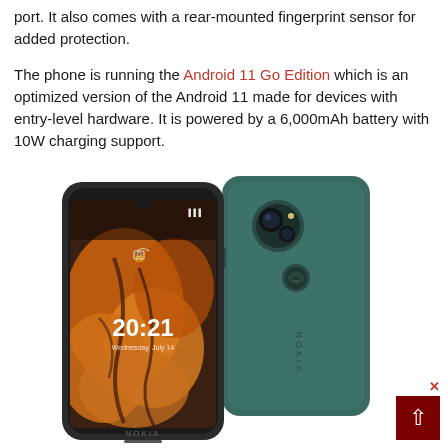port. It also comes with a rear-mounted fingerprint sensor for added protection.

The phone is running the Android 11 Go Edition which is an optimized version of the Android 11 made for devices with entry-level hardware. It is powered by a 6,000mAh battery with 10W charging support.
[Figure (photo): Nokia smartphone shown from front and back angles. The front shows the screen displaying time 20:21 with an orange/brown wallpaper. The back is teal/dark green color with a dual camera module and fingerprint sensor. Nokia branding visible at the bottom.]